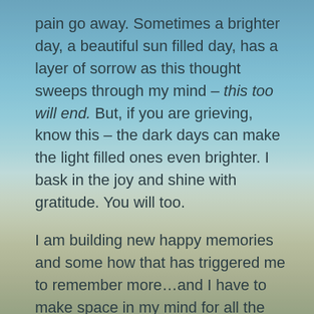pain go away. Sometimes a brighter day, a beautiful sun filled day, has a layer of sorrow as this thought sweeps through my mind – this too will end. But, if you are grieving, know this – the dark days can make the light filled ones even brighter. I bask in the joy and shine with gratitude. You will too.
I am building new happy memories and some how that has triggered me to remember more…and I have to make space in my mind for all the memories. I wonder if part of incorporating grief into your life, healthy grief, can only occur when you start to live more fully? When you can see the sun and the moon in the same sky and understand that its not all dark or all light